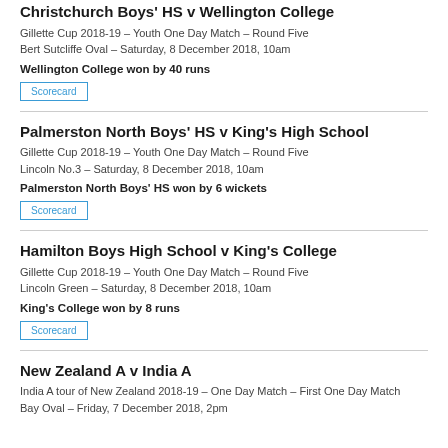Christchurch Boys' HS v Wellington College
Gillette Cup 2018-19 – Youth One Day Match – Round Five
Bert Sutcliffe Oval  –  Saturday, 8 December 2018, 10am
Wellington College won by 40 runs
Scorecard
Palmerston North Boys' HS v King's High School
Gillette Cup 2018-19 – Youth One Day Match – Round Five
Lincoln No.3  –  Saturday, 8 December 2018, 10am
Palmerston North Boys' HS won by 6 wickets
Scorecard
Hamilton Boys High School v King's College
Gillette Cup 2018-19 – Youth One Day Match – Round Five
Lincoln Green  –  Saturday, 8 December 2018, 10am
King's College won by 8 runs
Scorecard
New Zealand A v India A
India A tour of New Zealand 2018-19 – One Day Match – First One Day Match
Bay Oval  –  Friday, 7 December 2018, 2pm